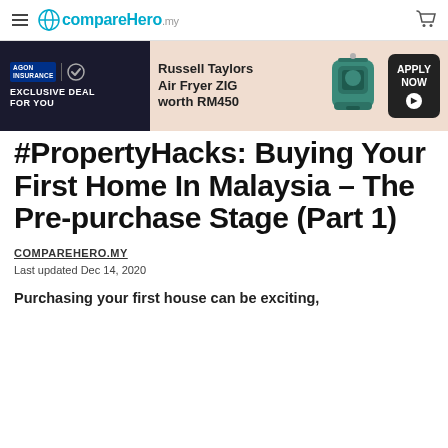CompareHero.my
[Figure (infographic): Promotional banner for AGON exclusive deal featuring Russell Taylors Air Fryer ZIG worth RM450 with Apply Now button]
#PropertyHacks: Buying Your First Home In Malaysia – The Pre-purchase Stage (Part 1)
COMPAREHERO.MY
Last updated Dec 14, 2020
Purchasing your first house can be exciting,